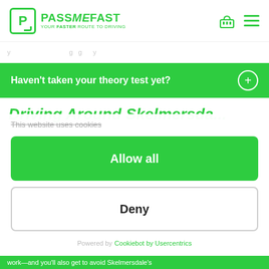PASS ME FAST — YOUR FASTER ROUTE TO DRIVING
Haven't taken your theory test yet?
Driving Around Skelmersdale
This website uses cookies
Allow all
Deny
Powered by Cookiebot by Usercentrics
work—and you'll also get to avoid Skelmersdale's